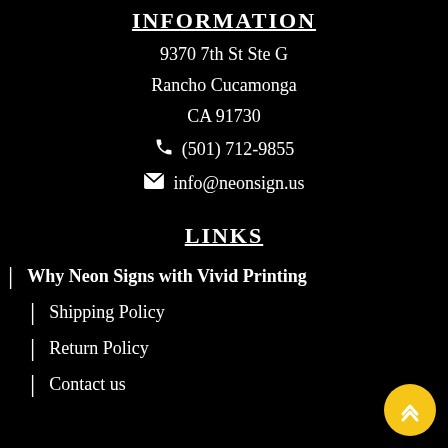INFORMATION
9370 7th St Ste G
Rancho Cucamonga
CA 91730
(501) 712-9855
info@neonsign.us
LINKS
Why Neon Signs with Vivid Printing
Shipping Policy
Return Policy
Contact us